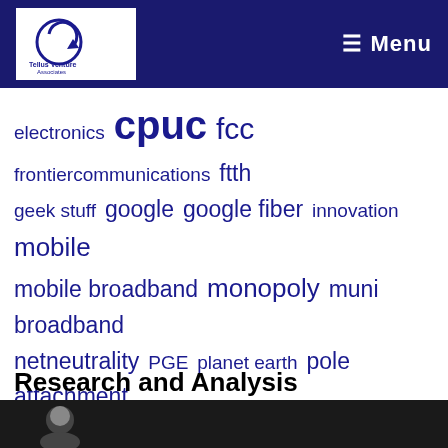Tellus Venture Associates — Menu
electronics cpuc fcc frontiercommunications ftth geek stuff google google fiber innovation mobile mobile broadband monopoly muni broadband netneutrality PGE planet earth pole attachment public policy race telecommunications regional consortia rural broadband samsung santa cruz sb460 sb740 sb822 sb1130 small cells sprint t-mobile time-warner utility regulation verizon wireless
Research and Analysis
[Figure (photo): Photo strip at the bottom of the page showing a person]